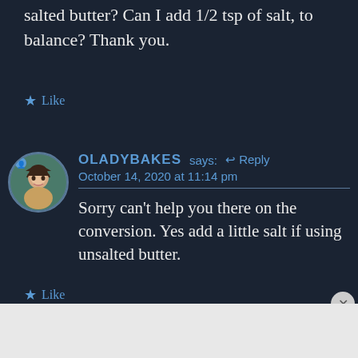salted butter? Can I add 1/2 tsp of salt, to balance? Thank you.
★ Like
OLADYBAKES says: ↩ Reply
October 14, 2020 at 11:14 pm
Sorry can't help you there on the conversion. Yes add a little salt if using unsalted butter.
★ Like
Advertisements